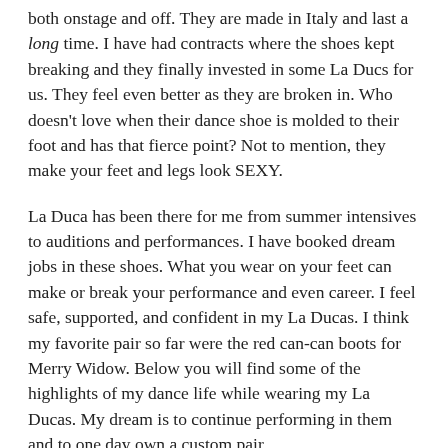both onstage and off. They are made in Italy and last a long time. I have had contracts where the shoes kept breaking and they finally invested in some La Ducs for us. They feel even better as they are broken in. Who doesn't love when their dance shoe is molded to their foot and has that fierce point? Not to mention, they make your feet and legs look SEXY.
La Duca has been there for me from summer intensives to auditions and performances. I have booked dream jobs in these shoes. What you wear on your feet can make or break your performance and even career. I feel safe, supported, and confident in my La Ducas. I think my favorite pair so far were the red can-can boots for Merry Widow. Below you will find some of the highlights of my dance life while wearing my La Ducas. My dream is to continue performing in them and to one day own a custom pair.
[Figure (photo): A horizontal strip of photos showing dance/performance highlights, partially visible at the bottom of the page.]